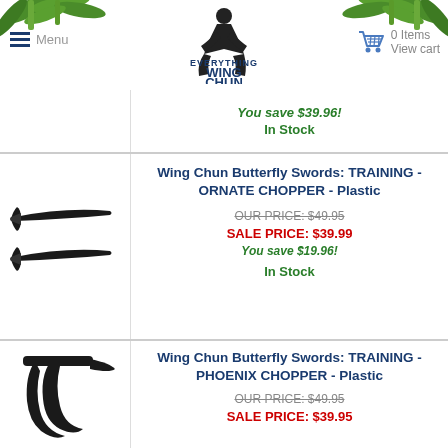Menu | Everything Wing Chun | 0 Items View cart
You save $39.96! In Stock
[Figure (photo): Wing Chun Butterfly Swords plastic training ornate chopper product photo]
Wing Chun Butterfly Swords: TRAINING - ORNATE CHOPPER - Plastic
OUR PRICE: $49.95 SALE PRICE: $39.99 You save $19.96! In Stock
[Figure (photo): Wing Chun Butterfly Swords plastic training phoenix chopper product photo (partial)]
Wing Chun Butterfly Swords: TRAINING - PHOENIX CHOPPER - Plastic
OUR PRICE: $49.95 SALE PRICE: $39.95